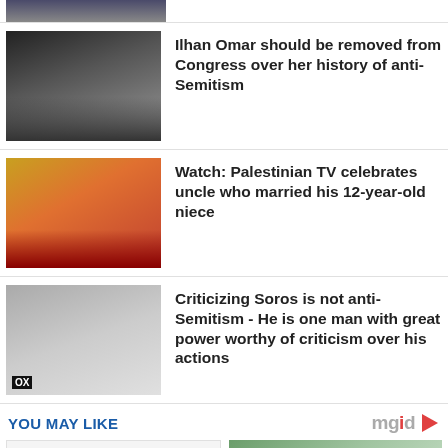[Figure (photo): Partial view of a person at the top of the page (cropped strip)]
[Figure (photo): Photo of Ilhan Omar speaking at microphones]
Ilhan Omar should be removed from Congress over her history of anti-Semitism
[Figure (photo): Photo of a young girl in red hijab crying]
Watch: Palestinian TV celebrates uncle who married his 12-year-old niece
[Figure (photo): Photo of an elderly man (George Soros) with FOX watermark]
Criticizing Soros is not anti-Semitism - He is one man with great power worthy of criticism over his actions
YOU MAY LIKE
[Figure (photo): Promotional content placeholder (left)]
[Figure (photo): Photo of a woman outdoors (promotional content, right)]